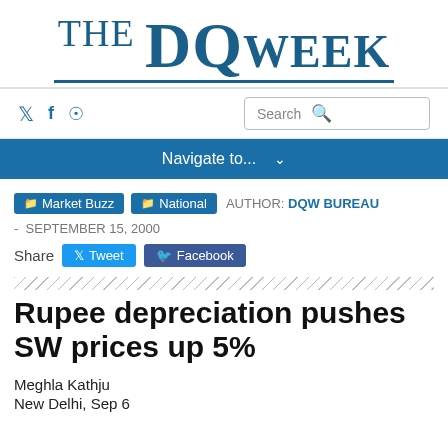[Figure (logo): THE DQ WEEK newspaper logo in blue serif font with underline]
Social icons (Twitter, Facebook, RSS) and Search box
Navigate to...
Market Buzz   National   AUTHOR: DQW BUREAU  -  SEPTEMBER 15, 2000
Share   Tweet   Facebook
Rupee depreciation pushes SW prices up 5%
Meghla Kathju
New Delhi, Sep 6